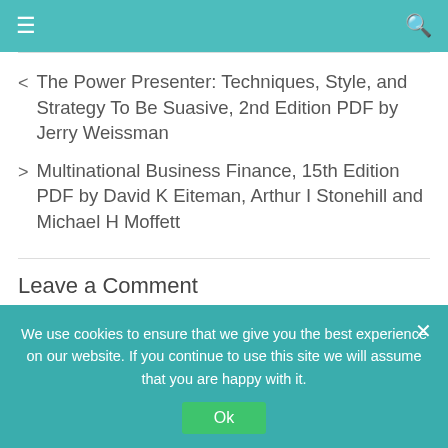≡  [search icon]
< The Power Presenter: Techniques, Style, and Strategy To Be Suasive, 2nd Edition PDF by Jerry Weissman
> Multinational Business Finance, 15th Edition PDF by David K Eiteman, Arthur I Stonehill and Michael H Moffett
Leave a Comment
We use cookies to ensure that we give you the best experience on our website. If you continue to use this site we will assume that you are happy with it.
Ok